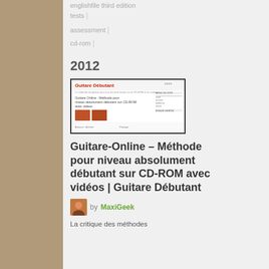englishfile third edition tests
assessment
cd-rom
2012
[Figure (screenshot): Screenshot of Guitare Débutant website showing article preview with images of guitar learning materials]
Guitare-Online – Méthode pour niveau absolument débutant sur CD-ROM avec vidéos | Guitare Débutant
by MaxiGeek
La critique des méthodes